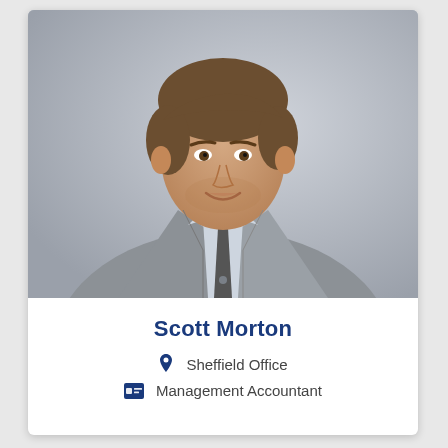[Figure (photo): Professional headshot of Scott Morton, a man in a light grey suit with dark tie and light blue shirt, smiling, against a grey background.]
Scott Morton
Sheffield Office
Management Accountant